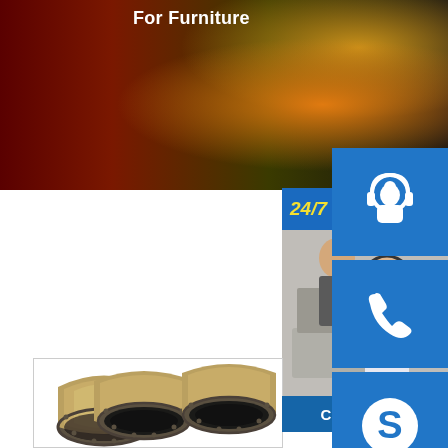[Figure (photo): Top banner with dark reddish-brown and orange background, possibly showing construction/industrial equipment]
For Furniture
[Figure (photo): Customer service representatives at computers with headsets, smiling]
24/7 hour
[Figure (infographic): Blue icon boxes showing headset/support icon, phone icon, and Skype icon stacked vertically on the right side]
Click to chat
[Figure (photo): Three golden/brass cylindrical tubes with dark metal flanged ends viewed from the open end]